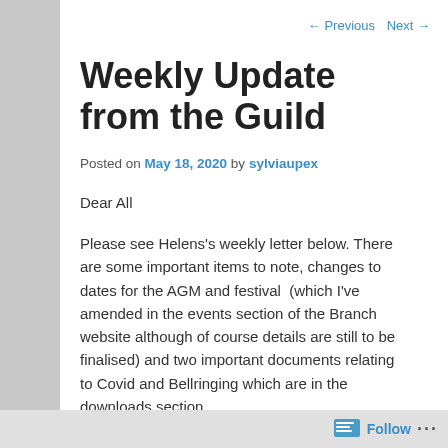← Previous   Next →
Weekly Update from the Guild
Posted on May 18, 2020 by sylviaupex
Dear All
Please see Helens's weekly letter below. There are some important items to note, changes to dates for the AGM and festival  (which I've amended in the events section of the Branch website although of course details are still to be finalised) and two important documents relating to Covid and Bellringing which are in the downloads section.
Its been such an age since I saw any of you but I hope
Follow